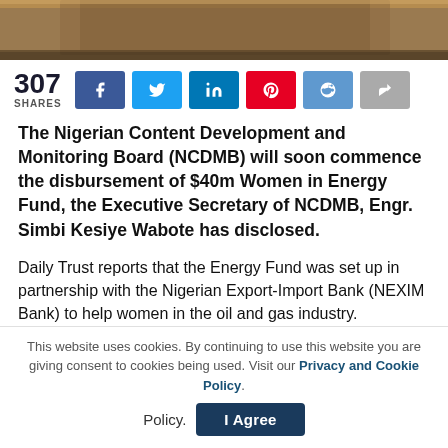[Figure (photo): Partial photo of a person at a podium, showing wooden lectern and suit]
307 SHARES
The Nigerian Content Development and Monitoring Board (NCDMB) will soon commence the disbursement of $40m Women in Energy Fund, the Executive Secretary of NCDMB, Engr. Simbi Kesiye Wabote has disclosed.
Daily Trust reports that the Energy Fund was set up in partnership with the Nigerian Export-Import Bank (NEXIM Bank) to help women in the oil and gas industry.
Globenille 74 in 70 states within four the
This website uses cookies. By continuing to use this website you are giving consent to cookies being used. Visit our Privacy and Cookie Policy.
I Agree